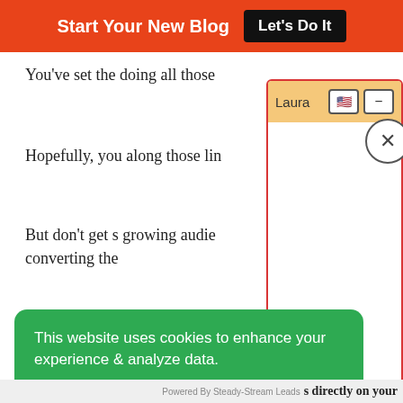Start Your New Blog  Let's Do It
You've set the  doing all those
Hopefully, you along those lin
But don't get s growing audie converting the
[Figure (screenshot): Chat widget panel with header 'Laura', two control buttons (flag icon and minus icon), and a close (X) circle button. The panel has a peach/orange header and white body with a red border.]
This website uses cookies to enhance your experience & analyze data.
Accept
Decline
Powered By Steady-Stream Leads  s directly on your